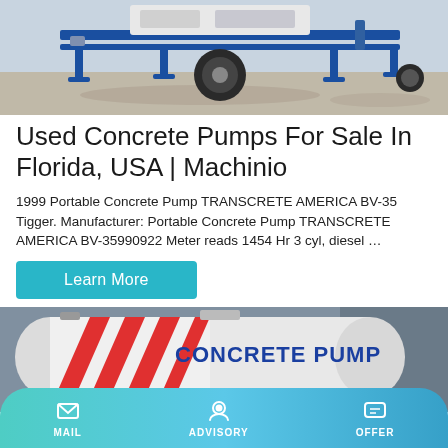[Figure (photo): Blue concrete pump machinery on pavement, showing undercarriage with tires and support legs]
Used Concrete Pumps For Sale In Florida, USA | Machinio
1999 Portable Concrete Pump TRANSCRETE AMERICA BV-35 Tigger. Manufacturer: Portable Concrete Pump TRANSCRETE AMERICA BV-35990922 Meter reads 1454 Hr 3 cyl, diesel …
[Figure (photo): White concrete pump tank with text CONCRETE PUMP and red diagonal stripes, parked near a building]
MAIL   ADVISORY   OFFER